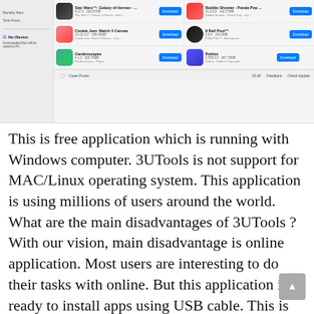[Figure (screenshot): Screenshot of 3UTools application showing an app store interface with a sidebar on the left listing device info (Monthly Rent, Total Kinds) and a No iDevice checkbox. The main area shows a grid of app listings including Cookie Jam Match 3 Canvas, Gardenscapes, Star Wars Galaxy of Heroes, Bubble Shooter Panda Pop, 8 Ball Pool, and Roblox — each with icons, download buttons, version and file size info. A footer bar shows Close iTunes, V2.60, Feedback, and Check Update.]
This is free application which is running with Windows computer. 3UTools is not support for MAC/Linux operating system. This application is using millions of users around the world. What are the main disadvantages of 3UTools ? With our vision, main disadvantage is online application. Most users are interesting to do their tasks with online. But this application is ready to install apps using USB cable. This is kind of much more flexible method to use this application properly.